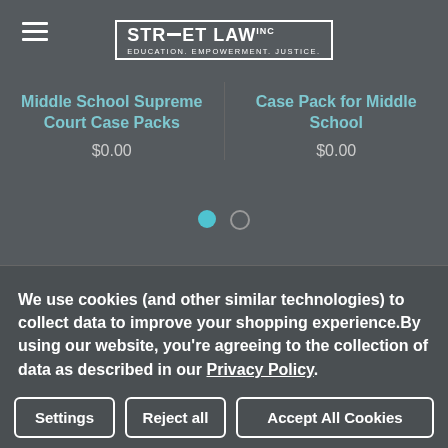STREETLAW inc — EDUCATION. EMPOWERMENT. JUSTICE.
Middle School Supreme Court Case Packs
$0.00
Case Pack for Middle School
$0.00
We use cookies (and other similar technologies) to collect data to improve your shopping experience.By using our website, you're agreeing to the collection of data as described in our Privacy Policy.
Settings
Reject all
Accept All Cookies